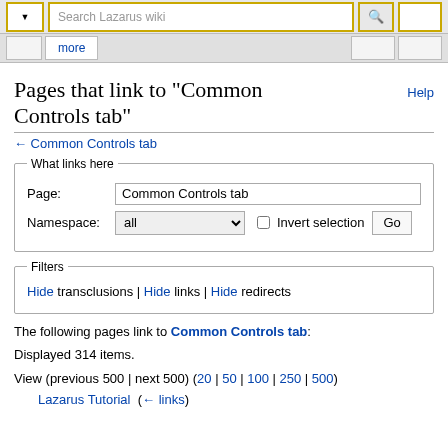Search Lazarus wiki
Pages that link to "Common Controls tab"
← Common Controls tab
What links here — Page: Common Controls tab — Namespace: all — Invert selection — Go
Filters — Hide transclusions | Hide links | Hide redirects
The following pages link to Common Controls tab:
Displayed 314 items.
View (previous 500 | next 500) (20 | 50 | 100 | 250 | 500)
Lazarus Tutorial  (← links)